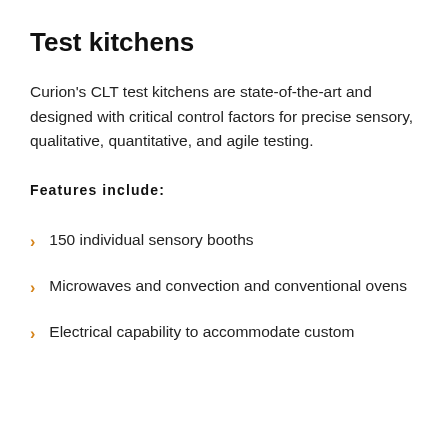Test kitchens
Curion’s CLT test kitchens are state-of-the-art and designed with critical control factors for precise sensory, qualitative, quantitative, and agile testing.
Features include:
150 individual sensory booths
Microwaves and convection and conventional ovens
Electrical capability to accommodate custom equipment